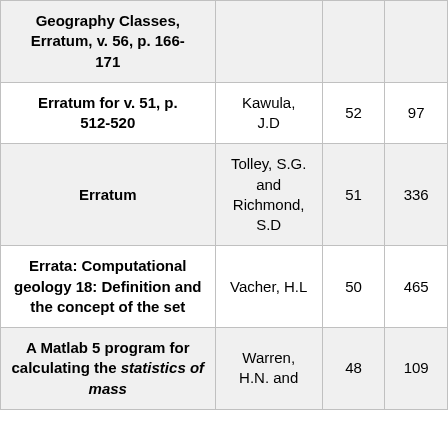| Title | Author | Vol | Page |
| --- | --- | --- | --- |
| Geography Classes, Erratum, v. 56, p. 166-171 |  |  |  |
| Erratum for v. 51, p. 512-520 | Kawula, J.D | 52 | 97 |
| Erratum | Tolley, S.G. and Richmond, S.D | 51 | 336 |
| Errata: Computational geology 18: Definition and the concept of the set | Vacher, H.L | 50 | 465 |
| A Matlab 5 program for calculating the statistics of mass | Warren, H.N. and | 48 | 109 |